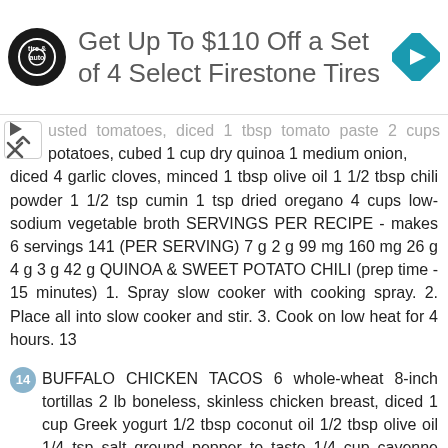[Figure (other): Advertisement banner: Firestone Tire & Auto logo (circular dark logo), text 'Get Up To $110 Off a Set of 4 Select Firestone Tires', blue diamond arrow icon on right]
usted tomatoes, diced 1 tbsp tomato paste 2 cups potatoes, cubed 1 cup dry quinoa 1 medium onion, diced 4 garlic cloves, minced 1 tbsp olive oil 1 1/2 tbsp chili powder 1 1/2 tsp cumin 1 tsp dried oregano 4 cups low-sodium vegetable broth SERVINGS PER RECIPE - makes 6 servings 141 (PER SERVING) 7 g 2 g 99 mg 160 mg 26 g 4 g 3 g 42 g QUINOA & SWEET POTATO CHILI (prep time - 15 minutes) 1. Spray slow cooker with cooking spray. 2. Place all into slow cooker and stir. 3. Cook on low heat for 4 hours. 13
14 BUFFALO CHICKEN TACOS 6 whole-wheat 8-inch tortillas 2 lb boneless, skinless chicken breast, diced 1 cup Greek yogurt 1/2 tbsp coconut oil 1/2 tbsp olive oil 1/4 tsp salt ground pepper to taste 1/4 cup cayenne pepper sauce 3 large carrots, shredded 1 head romaine OR 1 cup iceberg lettuce, shredded 3 cups water 3 oz blue cheese SERVINGS PER RECIPE - makes 6 tacos 322 (PER